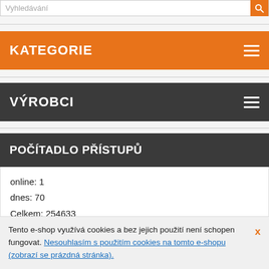Vyhledávání
KATEGORIE
VÝROBCI
POČÍTADLO PŘÍSTUPŮ
online: 1
dnes: 70
Celkem: 254633
Tento e-shop využívá cookies a bez jejich použití není schopen fungovat. Nesouhlasím s použitím cookies na tomto e-shopu (zobrazí se prázdná stránka).